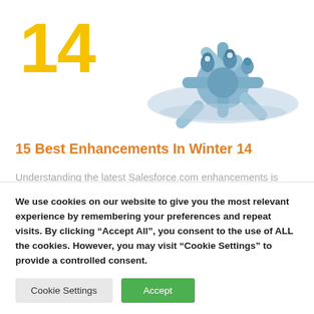[Figure (illustration): Illustration of a snowflake/cloud shape with small bird/penguin figures on top, rendered in light blue tones. Large yellow number '14' on the left side.]
15 Best Enhancements In Winter 14
Understanding the latest Salesforce.com enhancements is critical to get the most value for your organization. Below are the changes that the Winter 14 release of Salesforce.com that we at Cirrius Solutions think sales
We use cookies on our website to give you the most relevant experience by remembering your preferences and repeat visits. By clicking “Accept All”, you consent to the use of ALL the cookies. However, you may visit “Cookie Settings” to provide a controlled consent.